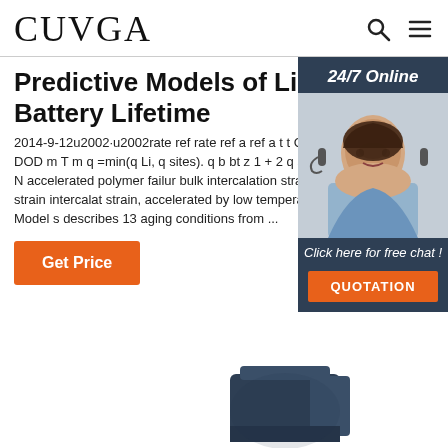CUVGA
Predictive Models of Li-ion Battery Lifetime
2014-9-12u2002·u2002rate ref rate ref a ref a t t C C E c c ref m DOD m T m q =min(q Li, q sites). q b bt z 1 + 2 q sites = c 0 + c 2 N accelerated polymer failure bulk intercalation strain bulk thermal strain intercalation strain, accelerated by low temperature . FeP Model s describes 13 aging conditions from ...
Get Price
[Figure (photo): Customer service representative with headset, sidebar with 24/7 Online, Click here for free chat!, and QUOTATION button]
[Figure (photo): Battery product image at bottom of page]